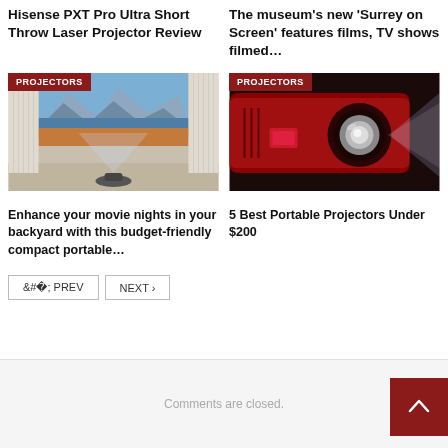Hisense PXT Pro Ultra Short Throw Laser Projector Review
The museum's new 'Surrey on Screen' features films, TV shows filmed…
[Figure (photo): A room with a short throw laser projector on the floor displaying a scenic mountain landscape on a large screen, with a PROJECTORS category badge]
[Figure (photo): Close-up of a red projector with bright light beam emanating from lens, with a PROJECTORS category badge]
Enhance your movie nights in your backyard with this budget-friendly compact portable…
5 Best Portable Projectors Under $200
‹ PREV   NEXT ›
Comments are closed.